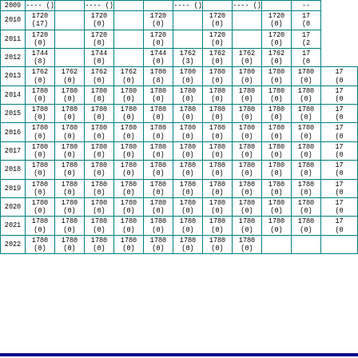| Year | Col1 | Col2 | Col3 | Col4 | Col5 | Col6 | Col7 | Col8 | Col9 | Col10 | Col11 |
| --- | --- | --- | --- | --- | --- | --- | --- | --- | --- | --- | --- |
| 2009 | ---- () |  | ---- () |  | ---- () |  | ---- () |  | ---- () |  | --- |
| 2010 | 1720
(17) |  | 1720
(0) |  | 1720
(0) |  | 1720
(0) |  | 1720
(0) |  | 17
(0 |
| 2011 | 1720
(0) |  | 1720
(0) |  | 1720
(0) |  | 1720
(0) |  | 1720
(0) |  | 17
(2 |
| 2012 | 1744
(8) |  | 1744
(0) |  | 1744
(0) |  | 1762
(3) | 1762
(0) | 1762
(0) | 1762
(0) | 17
(0 |
| 2013 | 1762
(0) | 1762
(0) | 1762
(0) | 1762
(0) | 1780
(8) | 1780
(0) | 1780
(0) | 1780
(0) | 1780
(0) | 1780
(0) | 17
(0 |
| 2014 | 1780
(0) | 1780
(0) | 1780
(0) | 1780
(0) | 1780
(0) | 1780
(0) | 1780
(0) | 1780
(0) | 1780
(0) | 1780
(0) | 17
(0 |
| 2015 | 1780
(0) | 1780
(0) | 1780
(0) | 1780
(0) | 1780
(0) | 1780
(0) | 1780
(0) | 1780
(0) | 1780
(0) | 1780
(0) | 17
(0 |
| 2016 | 1780
(0) | 1780
(0) | 1780
(0) | 1780
(0) | 1780
(0) | 1780
(0) | 1780
(0) | 1780
(0) | 1780
(0) | 1780
(0) | 17
(0 |
| 2017 | 1780
(0) | 1780
(0) | 1780
(0) | 1780
(0) | 1780
(0) | 1780
(0) | 1780
(0) | 1780
(0) | 1780
(0) | 1780
(0) | 17
(0 |
| 2018 | 1780
(0) | 1780
(0) | 1780
(0) | 1780
(0) | 1780
(0) | 1780
(0) | 1780
(0) | 1780
(0) | 1780
(0) | 1780
(0) | 17
(0 |
| 2019 | 1780
(0) | 1780
(0) | 1780
(0) | 1780
(0) | 1780
(0) | 1780
(0) | 1780
(0) | 1780
(0) | 1780
(0) | 1780
(0) | 17
(0 |
| 2020 | 1780
(0) | 1780
(0) | 1780
(0) | 1780
(0) | 1780
(0) | 1780
(0) | 1780
(0) | 1780
(0) | 1780
(0) | 1780
(0) | 17
(0 |
| 2021 | 1780
(0) | 1780
(0) | 1780
(0) | 1780
(0) | 1780
(0) | 1780
(0) | 1780
(0) | 1780
(0) | 1780
(0) | 1780
(0) | 17
(0 |
| 2022 | 1780
(0) | 1780
(0) | 1780
(0) | 1780
(0) | 1780
(0) | 1780
(0) | 1780
(0) | 1780
(0) |  |  |  |